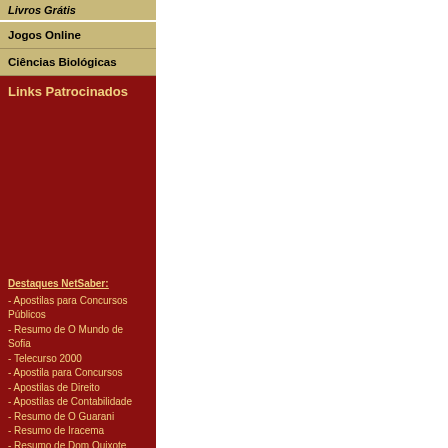Livros Grátis
Jogos Online
Ciências Biológicas
Links Patrocinados
Destaques NetSaber:
- Apostilas para Concursos Públicos
- Resumo de O Mundo de Sofia
- Telecurso 2000
- Apostila para Concursos
- Apostilas de Direito
- Apostilas de Contabilidade
- Resumo de O Guarani
- Resumo de Iracema
- Resumo de Dom Quixote
- Apostilas de Inglês
- Resumo de Dom Casmurro
- Apostilas de Informática
- Resumo de A Moreninha
- Apostilas para Vestibular
- Resumo de A Arte da Guerra
- Receitas Culinárias
- Dicionário de Português
- Frases e Citações
- Interpretação dos Sonhos
- Fontes Grátis
- Notícias
- Artigos